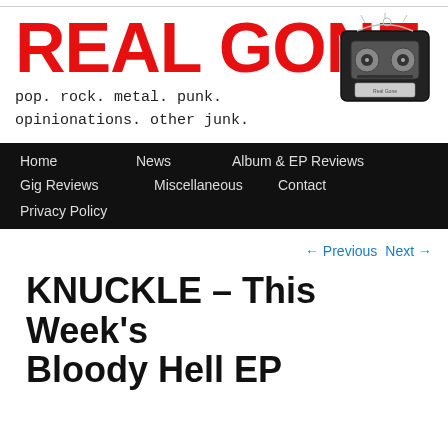[Figure (logo): Real Gone blog logo with red bold text 'REAL GONE' and tagline 'pop. rock. metal. punk. opinionations. other junk.' with a cassette tape illustration on the right]
Home   News   Album & EP Reviews   Gig Reviews   Miscellaneous   Contact   Privacy Policy
← Previous   Next →
KNUCKLE – This Week's Bloody Hell EP